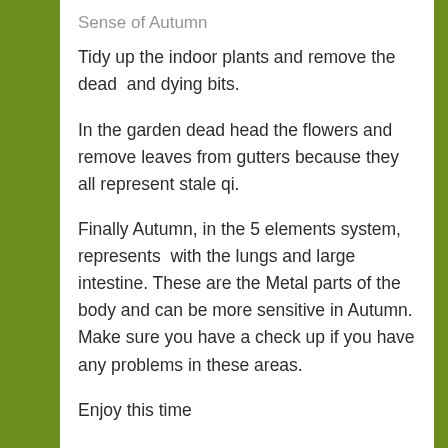Tidy up the indoor plants and remove the dead  and dying bits.
In the garden dead head the flowers and remove leaves from gutters because they all represent stale qi.
Finally Autumn, in the 5 elements system, represents  with the lungs and large intestine. These are the Metal parts of the body and can be more sensitive in Autumn. Make sure you have a check up if you have any problems in these areas.
Enjoy this time